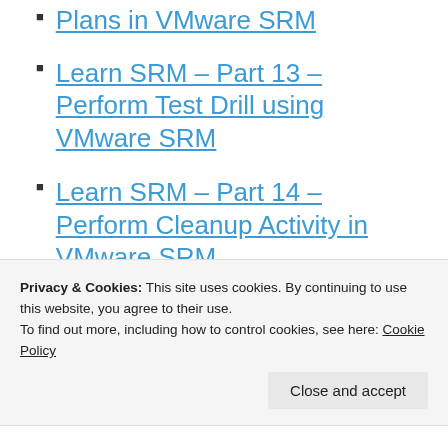Plans in VMware SRM
Learn SRM – Part 13 – Perform Test Drill using VMware SRM
Learn SRM – Part 14 – Perform Cleanup Activity in VMware SRM
Learn SRM – Part 15 – Perform Cleanup Activity in VMware SRM
Privacy & Cookies: This site uses cookies. By continuing to use this website, you agree to their use.
To find out more, including how to control cookies, see here: Cookie Policy